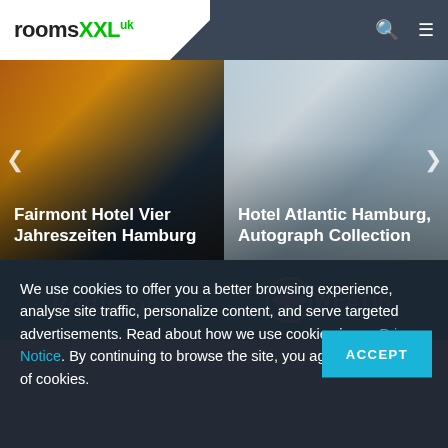[Figure (logo): roomsXXL.uk logo with green XXL and superscript uk text]
[Figure (photo): Hotel image carousel showing Fairmont Hotel Vier Jahreszeiten Hamburg on the left and Hotel Atlantic Hamburg, Autograph Collection on the right]
[Figure (logo): Radisson and Westin hotel brand logos on teal/cyan background strip]
We use cookies to offer you a better browsing experience, analyse site traffic, personalize content, and serve targeted advertisements. Read about how we use cookies in our Privacy Notice. By continuing to browse the site, you agree to our use of cookies.